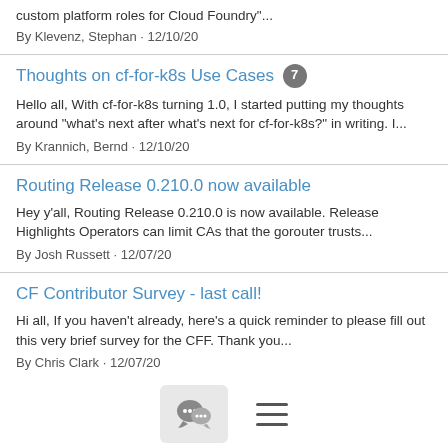custom platform roles for Cloud Foundry"...
By Klevenz, Stephan · 12/10/20
Thoughts on cf-for-k8s Use Cases [7]
Hello all, With cf-for-k8s turning 1.0, I started putting my thoughts around "what's next after what's next for cf-for-k8s?" in writing. I...
By Krannich, Bernd · 12/10/20
Routing Release 0.210.0 now available
Hey y'all, Routing Release 0.210.0 is now available. Release Highlights Operators can limit CAs that the gorouter trusts...
By Josh Russett · 12/07/20
CF Contributor Survey - last call!
Hi all, If you haven't already, here's a quick reminder to please fill out this very brief survey for the CFF. Thank you...
By Chris Clark · 12/07/20
CF Bi-Weekly Roundup 12/2
Hi, all. As the year comes to an end, there are a few exciting
[Figure (other): Bottom navigation bar with chat/discussion icon button and hamburger menu icon]